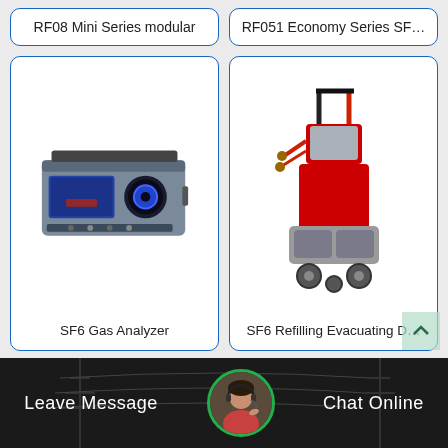RF08 Mini Series modular
RF051 Economy Series SF…
[Figure (photo): SF6 Gas Analyzer - portable instrument with display screen, blue circular dial, and control buttons on a grey metal case]
SF6 Gas Analyzer
[Figure (photo): SF6 Refilling Evacuating Device - red and grey cart-mounted device with pump, hoses, and wheels]
SF6 Refilling Evacuating D…
[Figure (photo): Footer background showing power transmission lines and towers]
Leave Message
[Figure (photo): Customer service avatar - woman with headset]
Chat Online